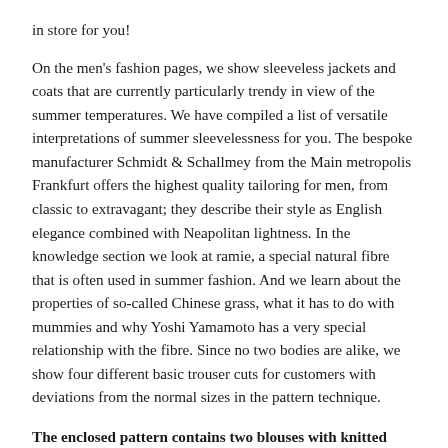in store for you!
On the men's fashion pages, we show sleeveless jackets and coats that are currently particularly trendy in view of the summer temperatures. We have compiled a list of versatile interpretations of summer sleevelessness for you. The bespoke manufacturer Schmidt & Schallmey from the Main metropolis Frankfurt offers the highest quality tailoring for men, from classic to extravagant; they describe their style as English elegance combined with Neapolitan lightness. In the knowledge section we look at ramie, a special natural fibre that is often used in summer fashion. And we learn about the properties of so-called Chinese grass, what it has to do with mummies and why Yoshi Yamamoto has a very special relationship with the fibre. Since no two bodies are alike, we show four different basic trouser cuts for customers with deviations from the normal sizes in the pattern technique.
The enclosed pattern contains two blouses with knitted cuffs for women (in European sizes 36 – 50).